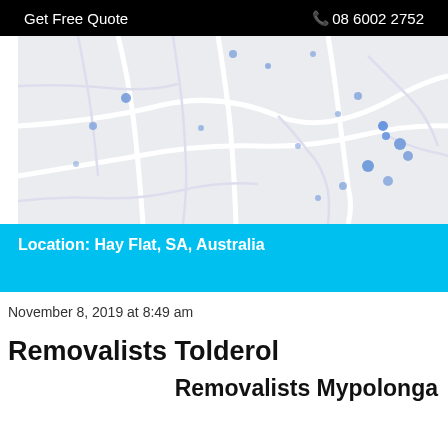Get Free Quote  ☎ 08 6002 2752
[Figure (map): A road map showing the Hay Flat area in SA, Australia. The map has a light grey background with white roads and light blue markers indicating locations.]
Location: Hay Flat, SA, Australia
November 8, 2019 at 8:49 am
Removalists Tolderol
Removalists Mypolonga